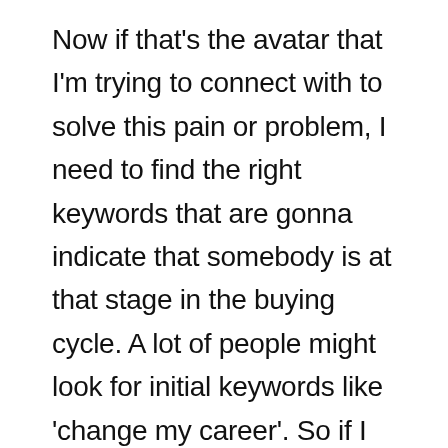Now if that's the avatar that I'm trying to connect with to solve this pain or problem, I need to find the right keywords that are gonna indicate that somebody is at that stage in the buying cycle. A lot of people might look for initial keywords like 'change my career'. So if I was to type change my career, the issue with that is that yes, there might be some people who go on google and type change my career who are suffering with that pain or problem. But a lot of people that are typing change my career, are not necessarily gonna be that person. They're not experiencing that pain. And since the way that we connect with